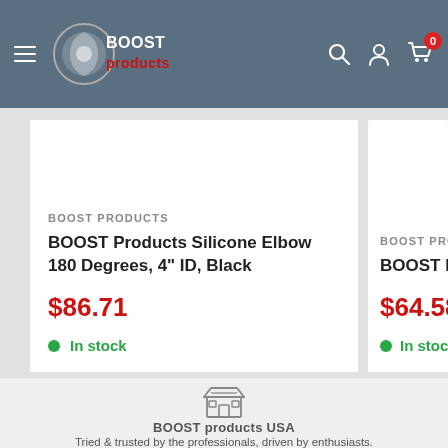BOOST Products navigation bar with logo, hamburger menu, search, account, and cart icons
BOOST PRODUCTS
BOOST Products Silicone Elbow 180 Degrees, 4" ID, Black
$86.71
In stock
BOOST PRODUCTS
BOOST Products Si 180 Degrees, 3-1/8"
$64.58
In stock
[Figure (logo): Store icon - outline of a shop/storefront]
BOOST products USA
Tried & trusted by the professionals, driven by enthusiasts.